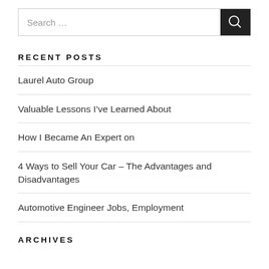Search …
RECENT POSTS
Laurel Auto Group
Valuable Lessons I've Learned About
How I Became An Expert on
4 Ways to Sell Your Car – The Advantages and Disadvantages
Automotive Engineer Jobs, Employment
ARCHIVES